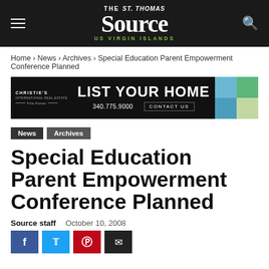The St. Thomas Source — US Virgin Islands
Home › News › Archives › Special Education Parent Empowerment Conference Planned
[Figure (other): Christie's International Real Estate advertisement: LIST YOUR HOME, 340.775.9000, CONTACT US]
News
Archives
Special Education Parent Empowerment Conference Planned
Source staff   October 10, 2008
[Figure (other): Social sharing buttons: Facebook, Twitter, Pinterest, Email]